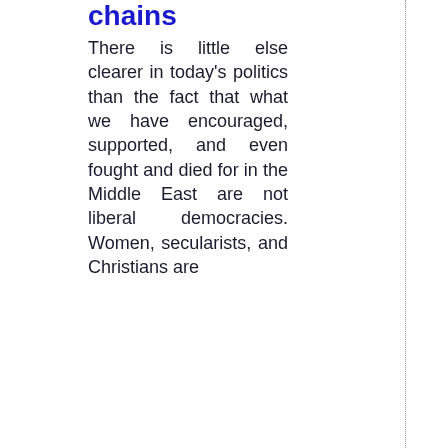chains
There is little else clearer in today's politics than the fact that what we have encouraged, supported, and even fought and died for in the Middle East are not liberal democracies. Women, secularists, and Christians are